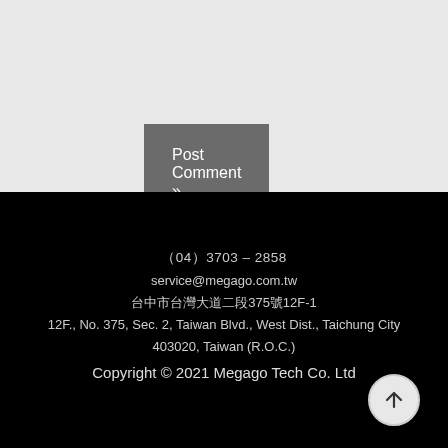Post Comment »
(04)  3703 – 2858
service@megago.com.tw
台中市台灣大道二段375號12F-1
12F., No. 375, Sec. 2, Taiwan Blvd., West Dist., Taichung City
403020, Taiwan (R.O.C.)
Copyright © 2021 Megago Tech Co. Ltd